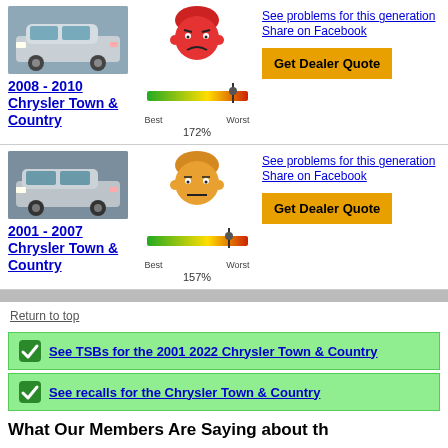[Figure (photo): Silver 2008-2010 Chrysler Town & Country minivan]
[Figure (illustration): Red unhappy face icon indicating poor reliability]
[Figure (infographic): Gauge from Best to Worst showing 172%]
2008 - 2010 Chrysler Town & Country
See problems for this generation Share on Facebook
Get Dealer Quote
[Figure (photo): Silver 2001-2007 Chrysler Town & Country minivan]
[Figure (illustration): Orange neutral face icon indicating moderate reliability]
[Figure (infographic): Gauge from Best to Worst showing 157%]
2001 - 2007 Chrysler Town & Country
See problems for this generation Share on Facebook
Get Dealer Quote
Return to top
See TSBs for the 2001 2022 Chrysler Town & Country
See recalls for the Chrysler Town & Country
What Our Members Are Saying about th